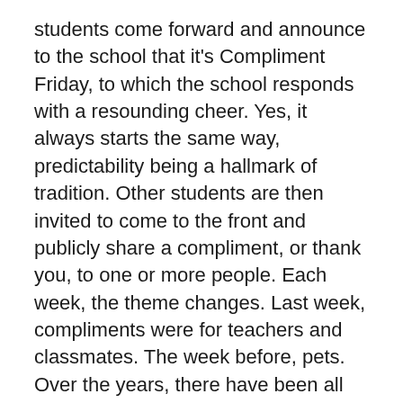students come forward and announce to the school that it's Compliment Friday, to which the school responds with a resounding cheer. Yes, it always starts the same way, predictability being a hallmark of tradition. Other students are then invited to come to the front and publicly share a compliment, or thank you, to one or more people. Each week, the theme changes. Last week, compliments were for teachers and classmates. The week before, pets. Over the years, there have been all manner of public outpourings of appreciation.
Contrary to what you might expect, Compliment Friday didn't emerge from Shangri-La. Though there's much that's wonderful here, KCS remains part of a real world that sometimes includes conflict, missteps, insecurity and poor judgment. Despite our many proactive efforts, social bumps continue to be part of growing up.